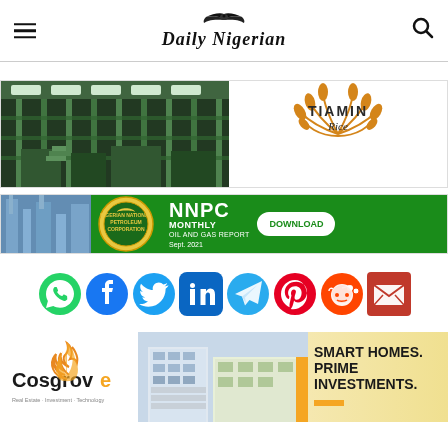Daily Nigerian
[Figure (photo): Industrial factory interior (green/glass structure) paired with Tiamin Rice logo advertisement]
[Figure (photo): NNPC Monthly Oil and Gas Report banner - Sept. 2021 with Download button]
[Figure (infographic): Social media share icons: WhatsApp, Facebook, Twitter, LinkedIn, Telegram, Pinterest, Reddit, Email]
[Figure (photo): Cosgrove Real Estate advertisement - Smart Homes. Prime Investments. with building photo]